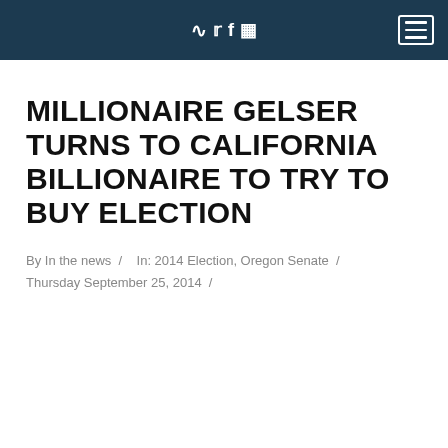Social icons (RSS, Twitter, Facebook, Instagram) and hamburger menu
MILLIONAIRE GELSER TURNS TO CALIFORNIA BILLIONAIRE TO TRY TO BUY ELECTION
By In the news /  In: 2014 Election, Oregon Senate / Thursday September 25, 2014 /